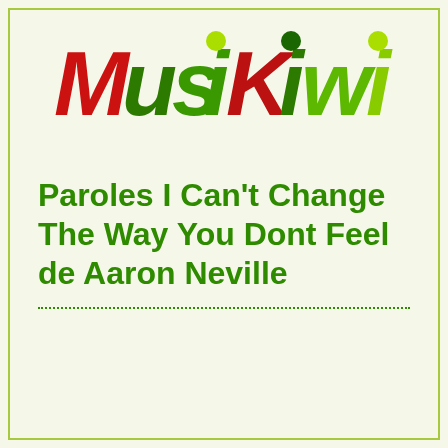[Figure (logo): MusiKiwi logo with colorful letters - M and u in red/dark red, s in green, i with yellow-green dot, K in dark red, i with dark green dot, w in green, i with yellow-green dot. Letters have a shadow/reflection effect below.]
Paroles I Can't Change The Way You Dont Feel de Aaron Neville